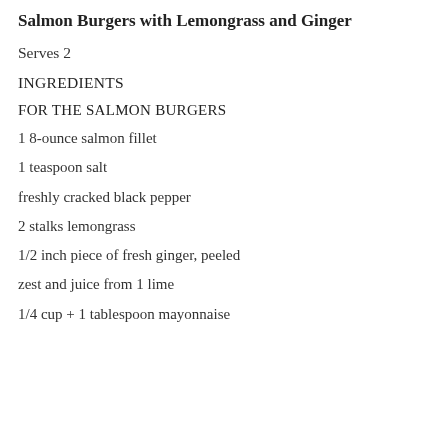Salmon Burgers with Lemongrass and Ginger
Serves 2
INGREDIENTS
FOR THE SALMON BURGERS
1 8-ounce salmon fillet
1 teaspoon salt
freshly cracked black pepper
2 stalks lemongrass
1/2 inch piece of fresh ginger, peeled
zest and juice from 1 lime
1/4 cup + 1 tablespoon mayonnaise